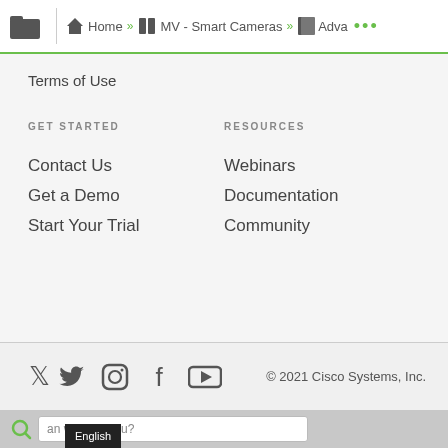Home » MV - Smart Cameras » Adva ...
Terms of Use
GET STARTED
RESOURCES
Contact Us
Webinars
Get a Demo
Documentation
Start Your Trial
Community
© 2021 Cisco Systems, Inc.